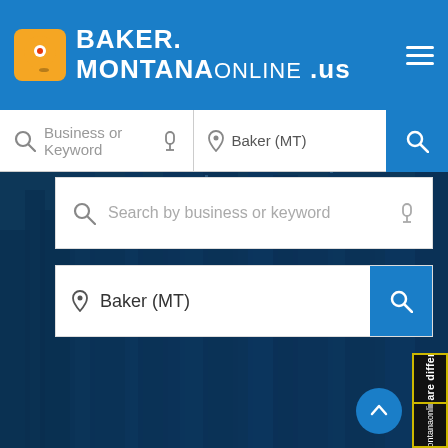BAKER. MONTANAONLINE .us
Business or Keyword
Baker (MT)
Search by business or keyword
Baker (MT)
[Figure (screenshot): City skyline background image with dark blue overlay]
We are different
er.Montanaonline.us